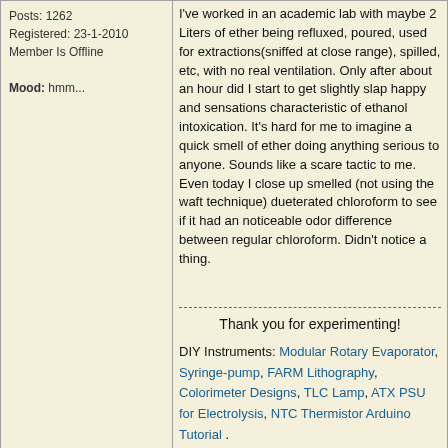Posts: 1262
Registered: 23-1-2010
Member Is Offline
Mood: hmm...
I've worked in an academic lab with maybe 2 Liters of ether being refluxed, poured, used for extractions(sniffed at close range), spilled, etc, with no real ventilation. Only after about an hour did I start to get slightly slap happy and sensations characteristic of ethanol intoxication. It's hard for me to imagine a quick smell of ether doing anything serious to anyone. Sounds like a scare tactic to me. Even today I close up smelled (not using the waft technique) dueterated chloroform to see if it had an noticeable odor difference between regular chloroform. Didn't notice a thing.
Thank you for experimenting!
DIY Instruments: Modular Rotary Evaporator, Syringe-pump, FARM Lithography, Colorimeter Designs, TLC Lamp, ATX PSU for Electrolysis, NTC Thermistor Arduino Tutorial .
Code/Applications: Spectral Image To Raw Data , Square Wave Voltammetry Simulation
PROFILE  FIND
bfesser
Resident Wikipedian
Thread Split
6-10-2013 at 15:55
Agricola
Harmless
posted on 28-10-2013 at 13:32